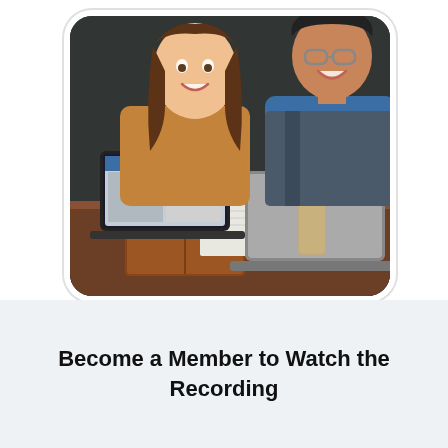[Figure (photo): Two people, a young woman with long brown hair and a man with glasses, sitting at a wooden table with laptops open, laughing together. The background is a dark textured wall. A brown journal and notebooks are on the table.]
Become a Member to Watch the Recording